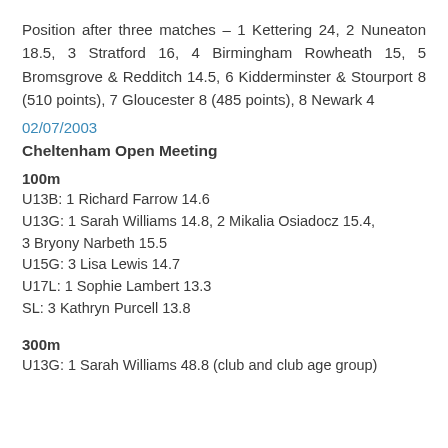Position after three matches – 1 Kettering 24, 2 Nuneaton 18.5, 3 Stratford 16, 4 Birmingham Rowheath 15, 5 Bromsgrove & Redditch 14.5, 6 Kidderminster & Stourport 8 (510 points), 7 Gloucester 8 (485 points), 8 Newark 4
02/07/2003
Cheltenham Open Meeting
100m
U13B: 1 Richard Farrow 14.6
U13G: 1 Sarah Williams 14.8, 2 Mikalia Osiadocz 15.4, 3 Bryony Narbeth 15.5
U15G: 3 Lisa Lewis 14.7
U17L: 1 Sophie Lambert 13.3
SL: 3 Kathryn Purcell 13.8
300m
U13G: 1 Sarah Williams 48.8 (club and club age group)